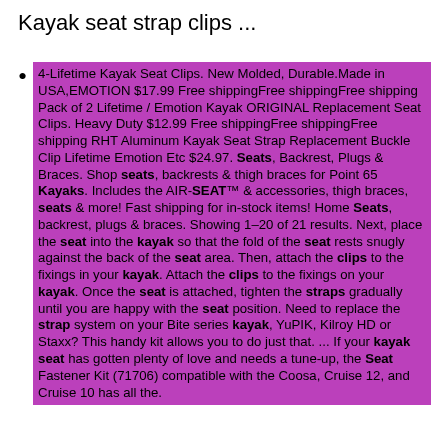Kayak seat strap clips ...
4-Lifetime Kayak Seat Clips. New Molded, Durable.Made in USA,EMOTION $17.99 Free shippingFree shippingFree shipping Pack of 2 Lifetime / Emotion Kayak ORIGINAL Replacement Seat Clips. Heavy Duty $12.99 Free shippingFree shippingFree shipping RHT Aluminum Kayak Seat Strap Replacement Buckle Clip Lifetime Emotion Etc $24.97. Seats, Backrest, Plugs & Braces. Shop seats, backrests & thigh braces for Point 65 Kayaks. Includes the AIR-SEAT™ & accessories, thigh braces, seats & more! Fast shipping for in-stock items! Home Seats, backrest, plugs & braces. Showing 1–20 of 21 results. Next, place the seat into the kayak so that the fold of the seat rests snugly against the back of the seat area. Then, attach the clips to the fixings in your kayak. Attach the clips to the fixings on your kayak. Once the seat is attached, tighten the straps gradually until you are happy with the seat position. Need to replace the strap system on your Bite series kayak, YuPIK, Kilroy HD or Staxx? This handy kit allows you to do just that. ... If your kayak seat has gotten plenty of love and needs a tune-up, the Seat Fastener Kit (71706) compatible with the Coosa, Cruise 12, and Cruise 10 has all the.